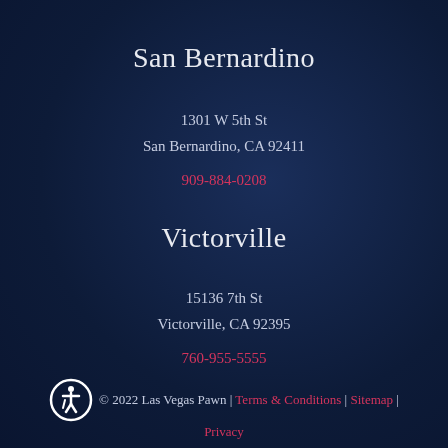San Bernardino
1301 W 5th St
San Bernardino, CA 92411
909-884-0208
Victorville
15136 7th St
Victorville, CA 92395
760-955-5555
© 2022 Las Vegas Pawn | Terms & Conditions | Sitemap | Privacy